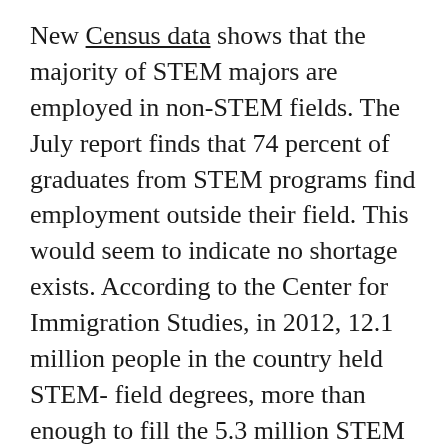New Census data shows that the majority of STEM majors are employed in non-STEM fields. The July report finds that 74 percent of graduates from STEM programs find employment outside their field. This would seem to indicate no shortage exists. According to the Center for Immigration Studies, in 2012, 12.1 million people in the country held STEM- field degrees, more than enough to fill the 5.3 million STEM jobs.
These conflicting messages are not helpful to the high school student who is trying to determine a career path. A closer look at the Brookings report shows that, yes, vacancies in health care, computer, math, architecture and engineering jobs remain unfilled for weeks. However, management